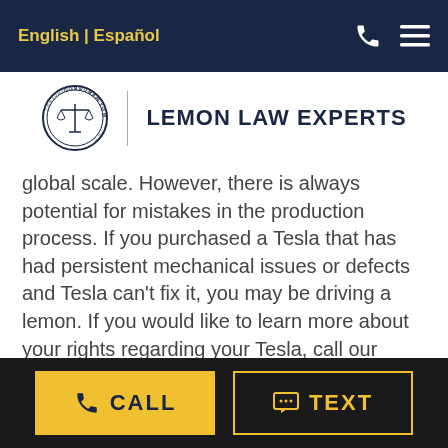English | Español
[Figure (logo): Lemon Law Experts logo with circular seal and text LEMON LAW EXPERTS]
global scale. However, there is always potential for mistakes in the production process. If you purchased a Tesla that has had persistent mechanical issues or defects and Tesla can't fix it, you may be driving a lemon. If you would like to learn more about your rights regarding your Tesla, call our Lemon Law Experts today!
CONTACT US TODAY
CALL  TEXT